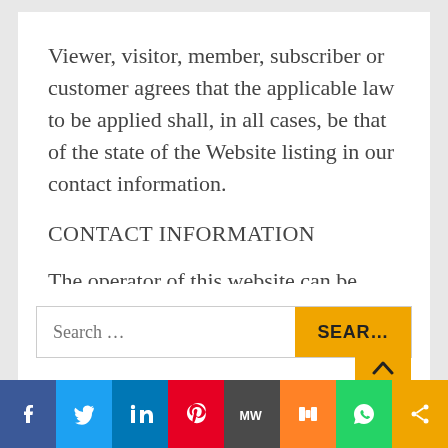Viewer, visitor, member, subscriber or customer agrees that the applicable law to be applied shall, in all cases, be that of the state of the Website listing in our contact information.
CONTACT INFORMATION
The operator of this website can be reached at admin@cyberpash.com